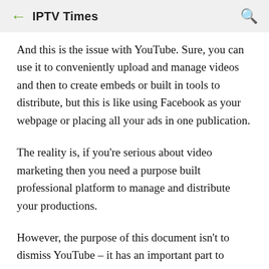← IPTV Times 🔍
And this is the issue with YouTube. Sure, you can use it to conveniently upload and manage videos and then to create embeds or built in tools to distribute, but this is like using Facebook as your webpage or placing all your ads in one publication.
The reality is, if you're serious about video marketing then you need a purpose built professional platform to manage and distribute your productions.
However, the purpose of this document isn't to dismiss YouTube – it has an important part to